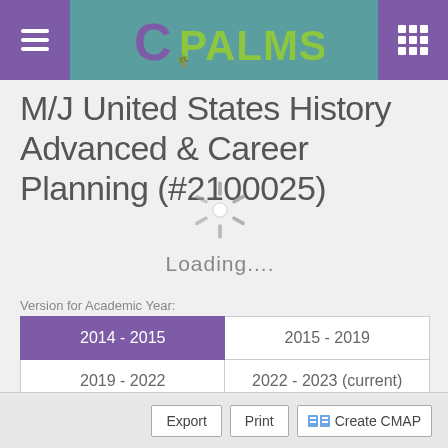CPALMS
M/J United States History Advanced & Career Planning (#2100025)
Version for Academic Year:
[Figure (infographic): Loading spinner animation overlay with radial spokes and text 'Loading....']
| 2014 - 2015 | 2015 - 2019 |
| 2019 - 2022 | 2022 - 2023 (current) |
| 2023 - And Beyond |  |
Export  Print  Create CMAP